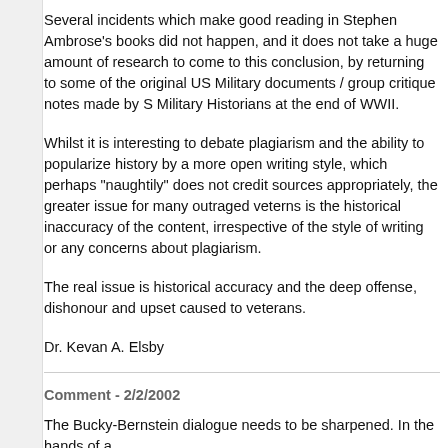Several incidents which make good reading in Stephen Ambrose's books did not happen, and it does not take a huge amount of research to come to this conclusion, by returning to some of the original US Military documents / group critique notes made by S Military Historians at the end of WWII.
Whilst it is interesting to debate plagiarism and the ability to popularize history by a more open writing style, which perhaps "naughtily" does not credit sources appropriately, the greater issue for many outraged veterns is the historical inaccuracy of the content, irrespective of the style of writing or any concerns about plagiarism.
The real issue is historical accuracy and the deep offense, dishonour and upset caused to veterans.
Dr. Kevan A. Elsby
Comment - 2/2/2002
The Bucky-Bernstein dialogue needs to be sharpened. In the hands of a